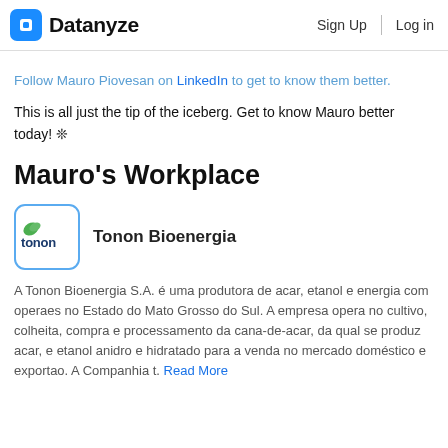Datanyze   Sign Up   Log in
Follow Mauro Piovesan on LinkedIn to get to know them better.
This is all just the tip of the iceberg. Get to know Mauro better today! ❊
Mauro's Workplace
[Figure (logo): Tonon Bioenergia company logo — green leaf above 'tonon' wordmark on white background with blue rounded-square border]
Tonon Bioenergia
A Tonon Bioenergia S.A. é uma produtora de acar, etanol e energia com operaes no Estado do Mato Grosso do Sul. A empresa opera no cultivo, colheita, compra e processamento da cana-de-acar, da qual se produz acar, e etanol anidro e hidratado para a venda no mercado doméstico e exportao. A Companhia t... Read More